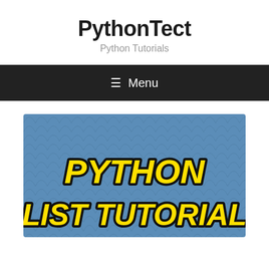PythonTect
Python Tutorials
≡  Menu
[Figure (illustration): Blue decorative background with fish-scale/scallop pattern, featuring bold italic yellow text with black outline reading 'PYTHON LIST TUTORIAL' in two lines]